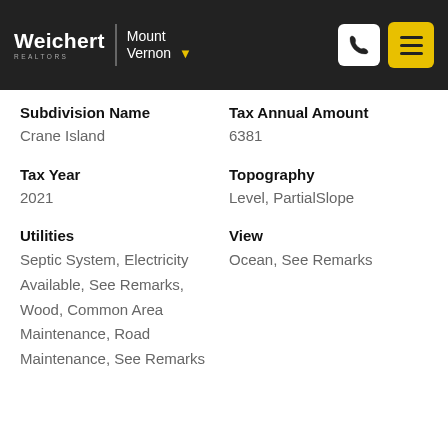Weichert Realtors | Mount Vernon
Subdivision Name
Crane Island
Tax Annual Amount
6381
Tax Year
2021
Topography
Level, PartialSlope
Utilities
Septic System, Electricity Available, See Remarks, Wood, Common Area Maintenance, Road Maintenance, See Remarks
View
Ocean, See Remarks